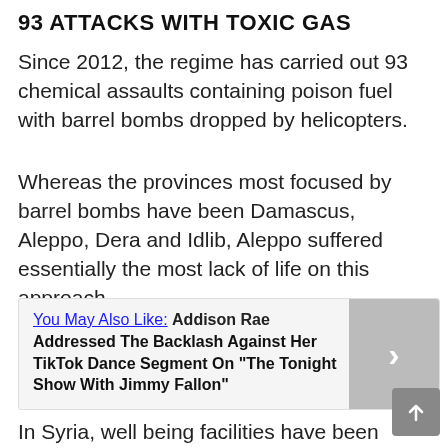93 ATTACKS WITH TOXIC GAS
Since 2012, the regime has carried out 93 chemical assaults containing poison fuel with barrel bombs dropped by helicopters.
Whereas the provinces most focused by barrel bombs have been Damascus, Aleppo, Dera and Idlib, Aleppo suffered essentially the most lack of life on this approach.
You May Also Like: Addison Rae Addressed The Backlash Against Her TikTok Dance Segment On "The Tonight Show With Jimmy Fallon"
In Syria, well being facilities have been focused 104